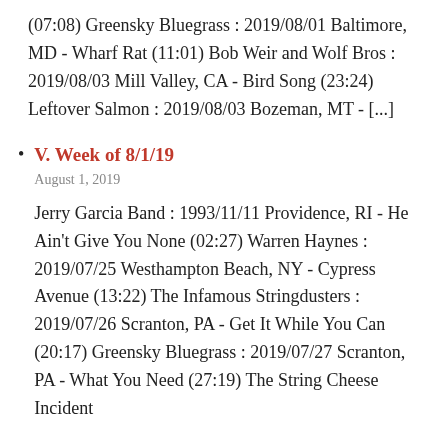(07:08) Greensky Bluegrass : 2019/08/01 Baltimore, MD - Wharf Rat (11:01) Bob Weir and Wolf Bros : 2019/08/03 Mill Valley, CA - Bird Song (23:24) Leftover Salmon : 2019/08/03 Bozeman, MT - [...]
V. Week of 8/1/19
August 1, 2019
Jerry Garcia Band : 1993/11/11 Providence, RI - He Ain't Give You None (02:27) Warren Haynes : 2019/07/25 Westhampton Beach, NY - Cypress Avenue (13:22) The Infamous Stringdusters : 2019/07/26 Scranton, PA - Get It While You Can (20:17) Greensky Bluegrass : 2019/07/27 Scranton, PA - What You Need (27:19) The String Cheese Incident